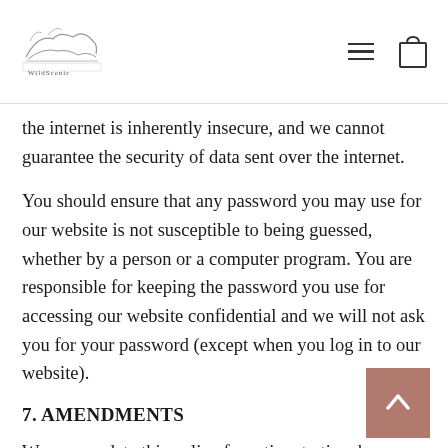[Logo] [hamburger menu] [cart icon]
the internet is inherently insecure, and we cannot guarantee the security of data sent over the internet.
You should ensure that any password you may use for our website is not susceptible to being guessed, whether by a person or a computer program. You are responsible for keeping the password you use for accessing our website confidential and we will not ask you for your password (except when you log in to our website).
7. AMENDMENTS
We may update this policy from time to time by publishing a new version on our website.
You should check this page occasionally to ensure you